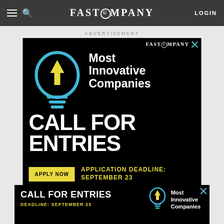FAST COMPANY — LOGIN
ADVERTISEMENT
[Figure (illustration): Fast Company Most Innovative Companies ad with lightbulb icon, 'Most Innovative Companies' text, 'CALL FOR ENTRIES' headline, 'APPLY NOW' button, 'APPLICATION DEADLINE: SEPTEMBER 23' text on black background]
[Figure (illustration): Bottom banner ad: 'CALL FOR ENTRIES - DEADLINE: SEPTEMBER 23' with lightbulb icon and 'Most Innovative Companies' text on black background]